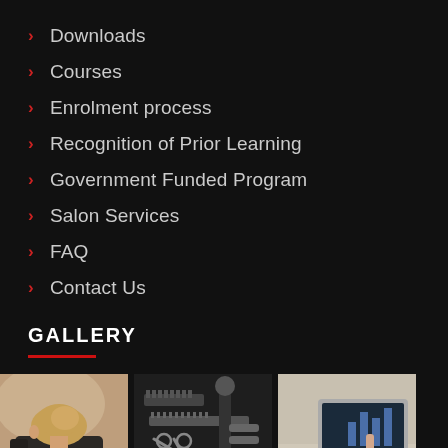Downloads
Courses
Enrolment process
Recognition of Prior Learning
Government Funded Program
Salon Services
FAQ
Contact Us
GALLERY
[Figure (photo): Person styling hair in a salon, blonde woman with hair up, seen from behind]
[Figure (photo): Hairdressing tools and combs laid out on dark fabric]
[Figure (photo): Person pointing at a laptop screen showing bar charts]